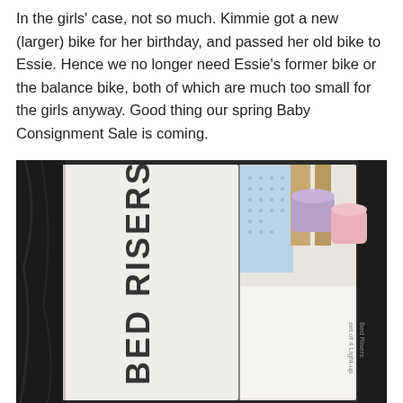In the girls' case, not so much. Kimmie got a new (larger) bike for her birthday, and passed her old bike to Essie. Hence we no longer need Essie's former bike or the balance bike, both of which are much too small for the girls anyway. Good thing our spring Baby Consignment Sale is coming.
[Figure (photo): Photo showing two boxes side by side. The left box has 'BED RISERS' written vertically in black marker handwriting. The right box shows product packaging with light-up bed risers visible, including purple and pink colored risers, and partial text reading 'set of 4 Light-up Bed Risers'. Background shows dark plastic bags.]